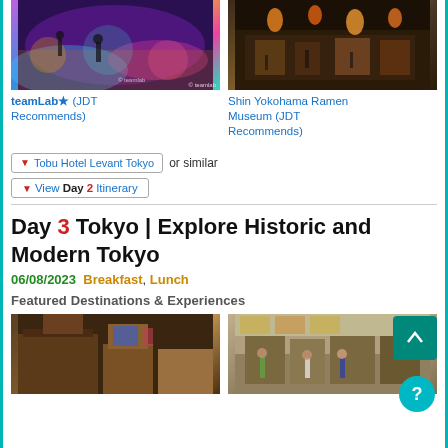[Figure (photo): teamLab interactive digital art installation with colorful light projections and people walking through]
teamLab★ (JDT Recommends)
[Figure (photo): Shin Yokohama Ramen Museum interior with illuminated lanterns and nighttime atmosphere]
Shin Yokohama Ramen Museum (JDT Recommends)
▼ Tobu Hotel Levant Tokyo or similar
▼ View Day 2 Itinerary
Day 3 Tokyo | Explore Historic and Modern Tokyo
06/08/2023 Breakfast, Lunch
Featured Destinations & Experiences
[Figure (photo): Traditional Japanese market stall with clothing and merchandise]
[Figure (photo): Outdoor market with tourists browsing stalls]